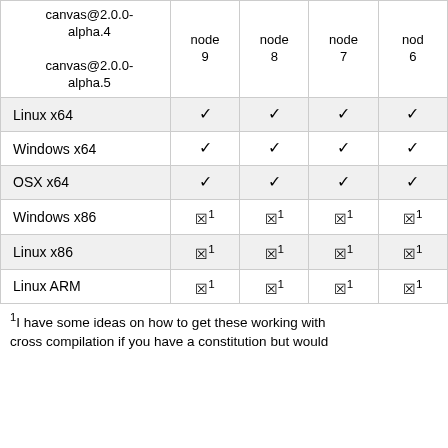|  | node 9 | node 8 | node 7 | nod 6 |
| --- | --- | --- | --- | --- |
| canvas@2.0.0-alpha.4 / canvas@2.0.0-alpha.5 |  |  |  |  |
| Linux x64 | ✓ | ✓ | ✓ | ✓ |
| Windows x64 | ✓ | ✓ | ✓ | ✓ |
| OSX x64 | ✓ | ✓ | ✓ | ✓ |
| Windows x86 | ☒¹ | ☒¹ | ☒¹ | ☒¹ |
| Linux x86 | ☒¹ | ☒¹ | ☒¹ | ☒¹ |
| Linux ARM | ☒¹ | ☒¹ | ☒¹ | ☒¹ |
¹I have some ideas on how to get these working with cross compilation if you have a constitution but would